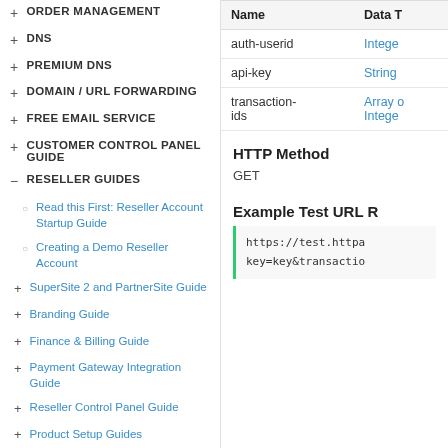+ ORDER MANAGEMENT
+ DNS
+ PREMIUM DNS
+ DOMAIN / URL FORWARDING
+ FREE EMAIL SERVICE
+ CUSTOMER CONTROL PANEL GUIDE
- RESELLER GUIDES
o Read this First: Reseller Account Startup Guide
o Creating a Demo Reseller Account
+ SuperSite 2 and PartnerSite Guide
+ Branding Guide
+ Finance & Billing Guide
+ Payment Gateway Integration Guide
+ Reseller Control Panel Guide
+ Product Setup Guides
| Name | Data T |
| --- | --- |
| auth-userid | Integer |
| api-key | String |
| transaction-ids | Array of Integer |
HTTP Method
GET
Example Test URL R
https://test.httpa key=key&transactio